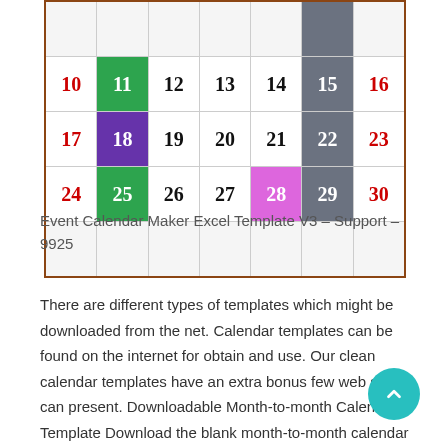[Figure (other): Partial calendar showing rows with dates 10-30, with colored cells: green (11, 25), purple (18), gray (15, 22, 29), pink/magenta (28), red (10, 16, 17, 23, 24, 30), and empty last row]
Event Calendar Maker Excel Template V3 – Support – 9925
There are different types of templates which might be downloaded from the net. Calendar templates can be found on the internet for obtain and use. Our clean calendar templates have an extra bonus few web sites can present. Downloadable Month-to-month Calendar Template Download the blank month-to-month calendar On the onset of each calendar 12